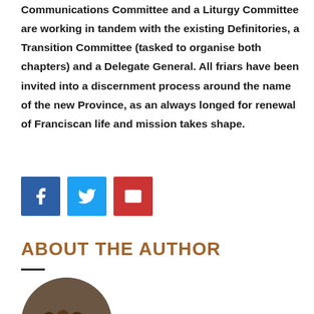Communications Committee and a Liturgy Committee are working in tandem with the existing Definitories, a Transition Committee (tasked to organise both chapters) and a Delegate General. All friars have been invited into a discernment process around the name of the new Province, as an always longed for renewal of Franciscan life and mission takes shape.
[Figure (other): Three social media share buttons: Facebook (dark blue), Twitter (light blue), and Email (red), each with white icons.]
ABOUT THE AUTHOR
[Figure (photo): Circular cropped photo of a group of friars/people.]